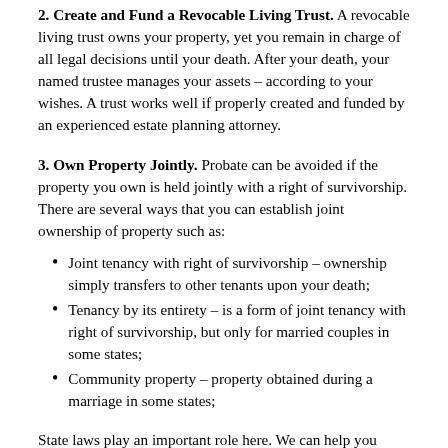2. Create and Fund a Revocable Living Trust. A revocable living trust owns your property, yet you remain in charge of all legal decisions until your death. After your death, your named trustee manages your assets – according to your wishes. A trust works well if properly created and funded by an experienced estate planning attorney.
3. Own Property Jointly. Probate can be avoided if the property you own is held jointly with a right of survivorship. There are several ways that you can establish joint ownership of property such as:
Joint tenancy with right of survivorship – ownership simply transfers to other tenants upon your death;
Tenancy by its entirety – is a form of joint tenancy with right of survivorship, but only for married couples in some states;
Community property – property obtained during a marriage in some states;
State laws play an important role here. We can help you determine which form of joint ownership, if any, is a